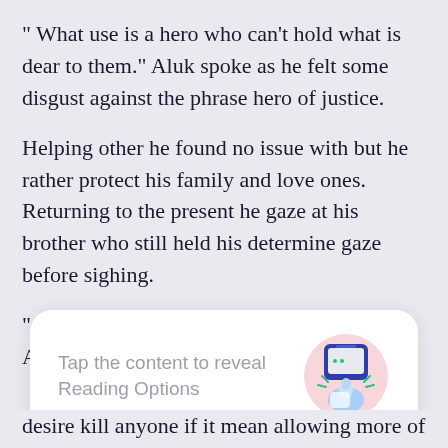" What use is a hero who can't hold what is dear to them." Aluk spoke as he felt some disgust against the phrase hero of justice.
Helping other he found no issue with but he rather protect his family and love ones. Returning to the present he gaze at his brother who still held his determine gaze before sighing.
" Do what you want." Returning to his book, Aluk
[Figure (infographic): A white rounded card overlay with text 'Tap the content to reveal Reading Options' and an illustration of a hand tapping a phone screen, plus a blue 'GOT IT' button.]
desire kill anyone if it mean allowing more of